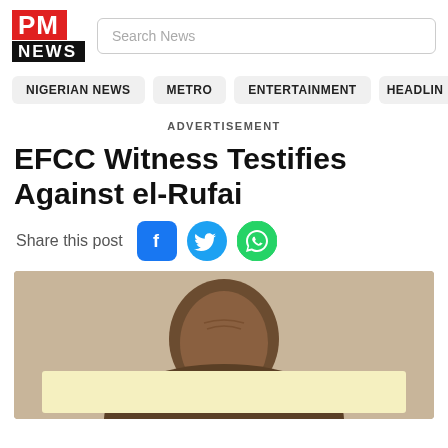PM NEWS
ADVERTISEMENT
EFCC Witness Testifies Against el-Rufai
Share this post
[Figure (photo): Portrait photo of a man, partially obscured by a light yellow overlay/banner at the bottom]